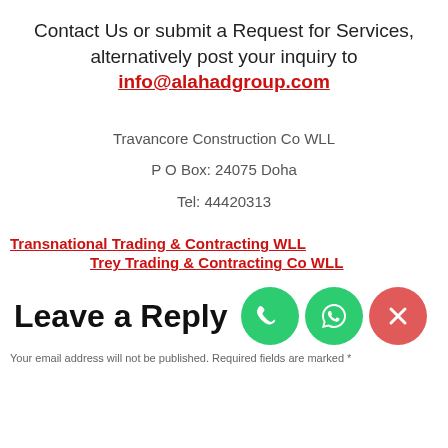Contact Us or submit a Request for Services, alternatively post your inquiry to info@alahadgroup.com
Travancore Construction Co WLL
P O Box: 24075 Doha
Tel: 44420313
Transnational Trading & Contracting WLL
Trey Trading & Contracting Co WLL
Leave a Reply
Your email address will not be published. Required fields are marked *